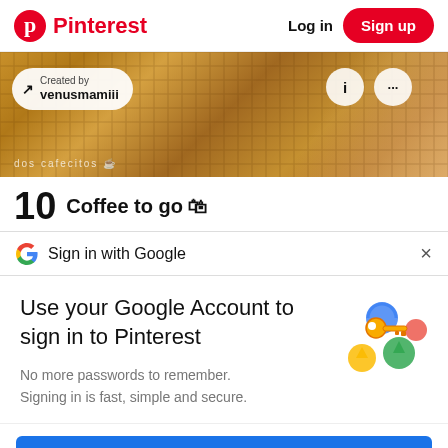Pinterest  Log in  Sign up
[Figure (screenshot): Pinterest pin image showing wicker/rattan texture with hands holding coffee cup. Overlay shows 'Created by venusmamiii' pill badge with arrow icon, two circular icon buttons (info and ellipsis), and watermark text 'dos cafecitos' at bottom left.]
10  Coffee to go 🛍
G  Sign in with Google  ×
Use your Google Account to sign in to Pinterest
No more passwords to remember.
Signing in is fast, simple and secure.
[Figure (illustration): Google account illustration showing a golden key with colorful circular arrows/shields in blue, green, yellow and pink colors]
Continue